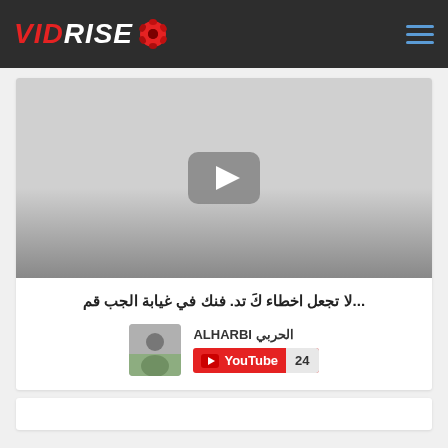VIDRISE
[Figure (screenshot): Video thumbnail with play button, gray gradient background]
...لا تجعل اخطاء كَ تد. فنك في غيابة الجب قم
الحربي ALHARBI
[Figure (screenshot): YouTube badge showing count 24]